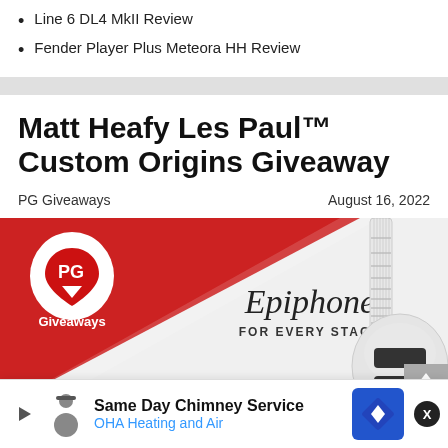Line 6 DL4 MkII Review
Fender Player Plus Meteora HH Review
Matt Heafy Les Paul™ Custom Origins Giveaway
PG Giveaways
August 16, 2022
[Figure (illustration): PG Giveaways and Epiphone promotional banner showing a white Les Paul Custom guitar on a red and white diagonal background with Epiphone logo and 'FOR EVERY STAGE' tagline]
You could WIN this Matt Heafy Les Paul™ Custom Origins
Same Day Chimney Service OHA Heating and Air